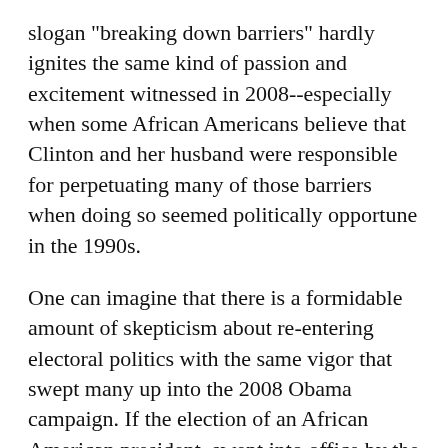slogan "breaking down barriers" hardly ignites the same kind of passion and excitement witnessed in 2008--especially when some African Americans believe that Clinton and her husband were responsible for perpetuating many of those barriers when doing so seemed politically opportune in the 1990s.
One can imagine that there is a formidable amount of skepticism about re-entering electoral politics with the same vigor that swept many up into the 2008 Obama campaign. If the election of an African American president, swept into office by the promises of fundamental change, could produce such small and, at times, imperceptible changes in the lives of ordinary Black people, then it would be hard to find excitement in a Clinton or Sanders campaign this time around. This may explain how even in Sanders' home state of Vermont, the under-30 vote in the primary was almost 40 percent lower than it had been in 2008. Sanders has tried to tap into hope, but for all